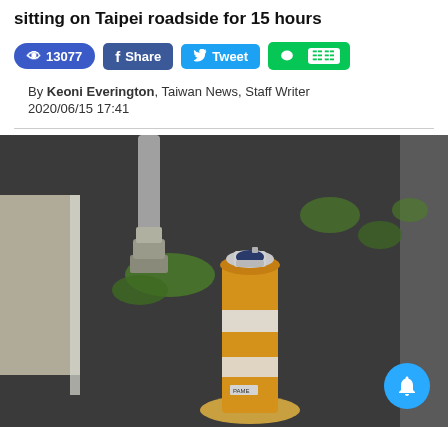sitting on Taipei roadside for 15 hours
👁 13077   f Share   🐦 Tweet   LINE
By Keoni Everington, Taiwan News, Staff Writer
2020/06/15 17:41
[Figure (photo): Photo of a silver wristwatch placed on top of an orange and white striped traffic bollard/delineator post on a dark asphalt roadside, with green moss/weeds visible around a concrete post base and a stone curb in the background. A blue notification bell button overlay is in the bottom right corner.]